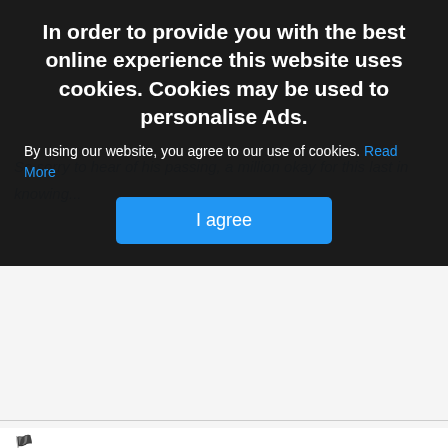In order to provide you with the best online experience this website uses cookies. Cookies may be used to personalise Ads.
By using our website, you agree to our use of cookies. Read More
I agree
Michael and Theresa Barrett Turlough
5 months 8 days
Sincere sympathy to the Shiel family on the passing of Dan remember him as e block layer and stone mason on the construction of the Sacret heart hospital in the seventies for Mc Cormacks a brilliant trades man may he rest in peace